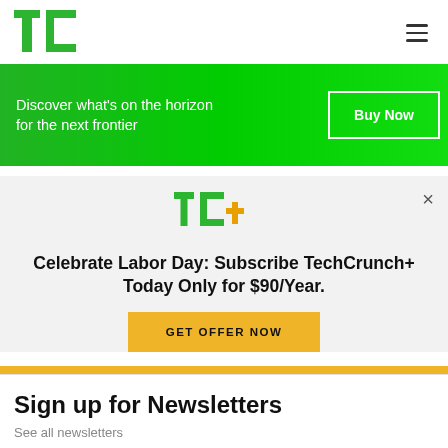[Figure (logo): TechCrunch TC green logo]
[Figure (infographic): Hamburger menu icon (three horizontal lines)]
Discover what's on the horizon for the next frontier
Buy Now
[Figure (logo): TechCrunch TC+ green and yellow logo in modal popup]
×
Celebrate Labor Day: Subscribe TechCrunch+ Today Only for $90/Year.
GET OFFER NOW
Sign up for Newsletters
See all newsletters